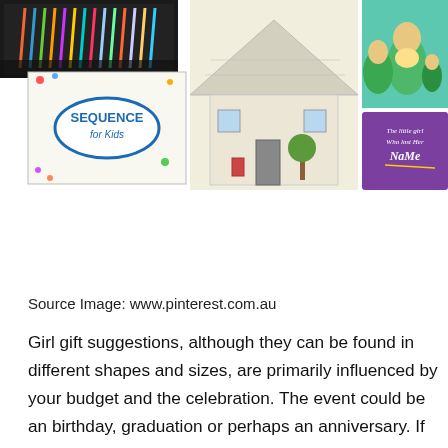[Figure (photo): Collage of girl gift products: art supply set (top left), Sequence for Kids board game (middle left), cardboard coloring house (center), Russian nesting matryoshka dolls (top right), purple book 'The little girl who lost her Name' (bottom right)]
Source Image: www.pinterest.com.au
Girl gift suggestions, although they can be found in different shapes and sizes, are primarily influenced by your budget and the celebration. The event could be an birthday, graduation or perhaps an anniversary. If you are shopping for a girl gift suggestion for a liked one, then you ought to understand her likes as well as disapproval. You can ask your friends or family members to aid you out with some great gift suggestions. You can also check out the Internet for wonderful gift